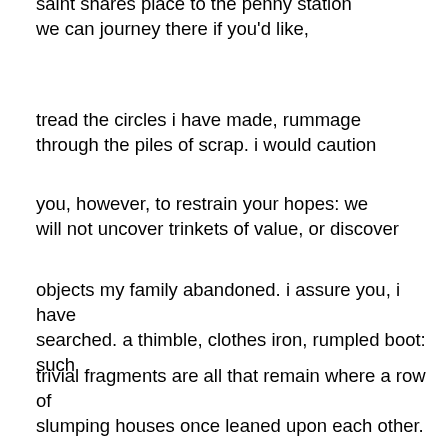saint shares place to the penny station we can journey there if you'd like,
tread the circles i have made, rummage through the piles of scrap. i would caution
you, however, to restrain your hopes: we will not uncover trinkets of value, or discover
objects my family abandoned. i assure you, i have searched. a thimble, clothes iron, rumpled boot: such
trivial fragments are all that remain where a row of slumping houses once leaned upon each other.
every hour the dark trains had grumbled past the tarnished windows and stoops, gravid with
passengers in top hats: men of fortune, who, although